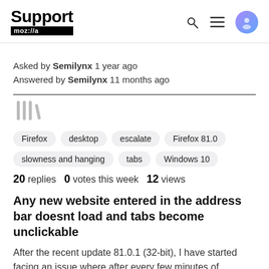Support moz://a
Asked by Semilynx 1 year ago
Answered by Semilynx 11 months ago
[Figure (other): Library/bookmark icon in gray]
Firefox
desktop
escalate
Firefox 81.0
slowness and hanging
tabs
Windows 10
20 replies   0 votes this week   12 views
Any new website entered in the address bar doesnt load and tabs become unclickable
After the recent update 81.0.1 (32-bit), I have started facing an issue where after every few minutes of